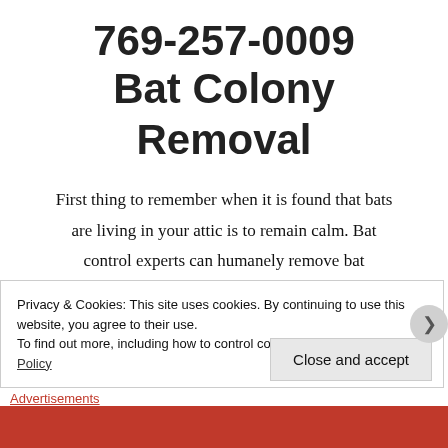769-257-0009 Bat Colony Removal
First thing to remember when it is found that bats are living in your attic is to remain calm. Bat control experts can humanely remove bat
Privacy & Cookies: This site uses cookies. By continuing to use this website, you agree to their use.
To find out more, including how to control cookies, see here: Cookie Policy
Close and accept
Advertisements